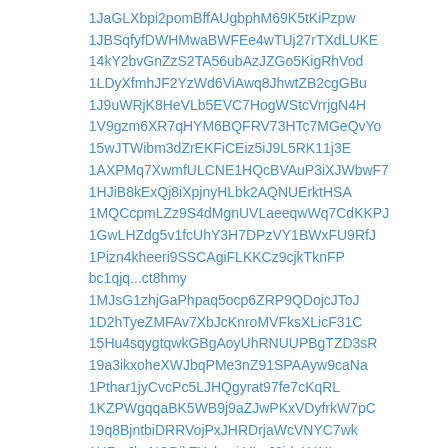1JaGLXbpi2pomBffAUgbphM69K5tKiPzpw
1JBSqfyfDWHMwaBWFEe4wTUj27rTXdLUKE
14kY2bvGnZzS2TA56ubAzJZGo5KigRhVod
1LDyXfmhJF2YzWd6ViAwq8JhwtZB2cgGBu
1J9uWRjK8HeVLb5EVC7HogWStcVrrjgN4H
1V9gzm6XR7qHYM6BQFRV73HTc7MGeQvYo
15wJTWibm3dZrEKFiCEiz5iJ9L5RK11j3E
1AXPMq7XwmfULCNE1HQcBVAuP3iXJWbwF7
1HJiB8kExQj8iXpjnyHLbk2AQNUErktHSA
1MQCcpmLZz9S4dMgnUVLaeeqwWq7CdKKPJ
1GwLHZdg5v1fcUhY3H7DPzVY1BWxFU9RfJ
1Pizn4kheeri9SSCAgiFLKKCz9cjkTknFP
bc1qjq...ct8hmy
1MJsG1zhjGaPhpaq5ocp6ZRP9QDojcJToJ
1D2hTyeZMFAv7XbJcKnroMVFksXLicF31C
15Hu4sqygtqwkGBgAoyUhRNUUPBgTZD3sR
19a3ikxoheXWJbqPMe3nZ91SPAAyw9caNa
1Pthar1jyCvcPc5LJHQgyrat97fe7cKqRL
1KZPWgqqaBK5WB9j9aZJwPKxVDyfrkW7pC
19q8BjntbiDRRVojPxJHRDrjaWcVNYC7wk
1HRwJkaNCDikTXskqsjtYLaJ6iduX4NLzs
1ES3VnS6cE9FuSt8HECnXCFFCbsxsjpNbk